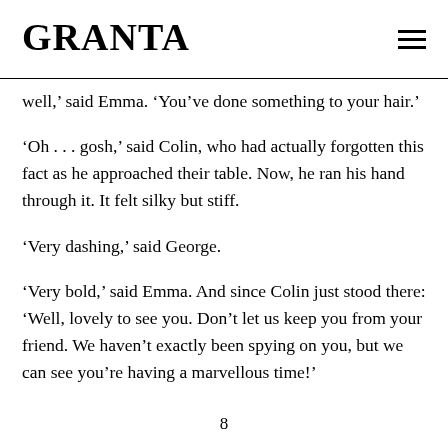GRANTA
well,’ said Emma. ‘You’ve done something to your hair.’
‘Oh . . . gosh,’ said Colin, who had actually forgotten this fact as he approached their table. Now, he ran his hand through it. It felt silky but stiff.
‘Very dashing,’ said George.
‘Very bold,’ said Emma. And since Colin just stood there: ‘Well, lovely to see you. Don’t let us keep you from your friend. We haven’t exactly been spying on you, but we can see you’re having a marvellous time!’
8